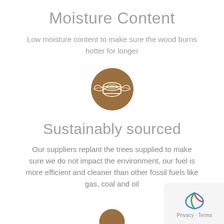Moisture Content
Low moisture content to make sure the wood burns hotter for longer
[Figure (illustration): Brown circular icon with a wood log illustration]
Sustainably sourced
Our suppliers replant the trees supplied to make sure we do not impact the environment, our fuel is more efficient and cleaner than other fossil fuels like gas, coal and oil